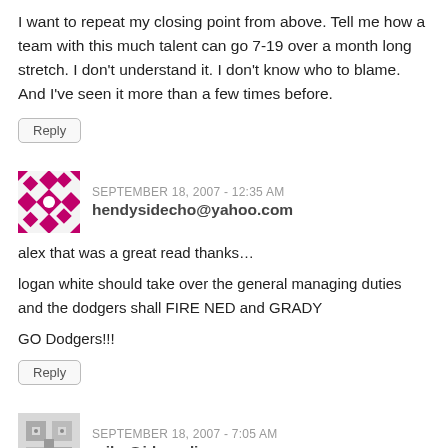I want to repeat my closing point from above. Tell me how a team with this much talent can go 7-19 over a month long stretch. I don't understand it. I don't know who to blame. And I've seen it more than a few times before.
Reply
SEPTEMBER 18, 2007 - 12:35 AM
hendysidecho@yahoo.com
alex that was a great read thanks…
logan white should take over the general managing duties and the dodgers shall FIRE NED and GRADY
GO Dodgers!!!
Reply
SEPTEMBER 18, 2007 - 7:05 AM
mike@jdrmedia.com
I would be MOST upset if Bob was gone next year, or if he was censored